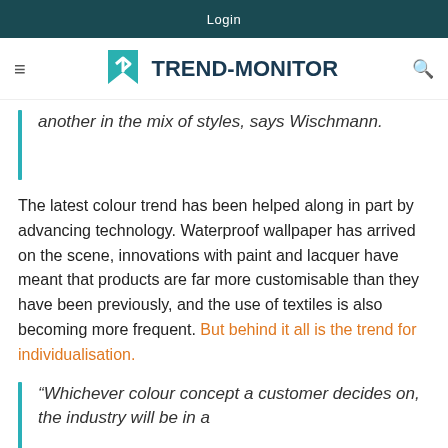Login
[Figure (logo): Trend-Monitor logo with teal arrow/bookmark icon and dark blue text reading TREND-MONITOR]
another in the mix of styles, says Wischmann.
The latest colour trend has been helped along in part by advancing technology. Waterproof wallpaper has arrived on the scene, innovations with paint and lacquer have meant that products are far more customisable than they have been previously, and the use of textiles is also becoming more frequent. But behind it all is the trend for individualisation.
“Whichever colour concept a customer decides on, the industry will be in a